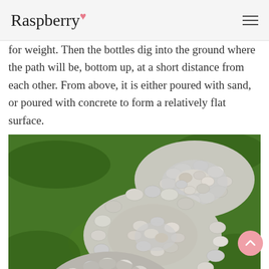Raspberry
for weight. Then the bottles dig into the ground where the path will be, bottom up, at a short distance from each other. From above, it is either poured with sand, or poured with concrete to form a relatively flat surface.
[Figure (photo): Photograph of circular stepping stone pads made of smooth river rocks/pebbles arranged in oval shapes on a green grass lawn. Two or three stone pads are visible. Watermark text 'eohouse.net' visible in bottom right corner.]
Mini tracks - beautiful and creative